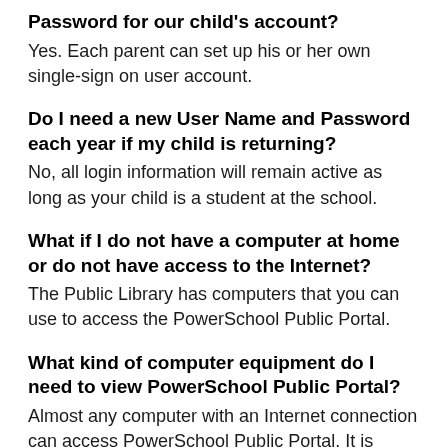Password for our child's account?
Yes. Each parent can set up his or her own single-sign on user account.
Do I need a new User Name and Password each year if my child is returning?
No, all login information will remain active as long as your child is a student at the school.
What if I do not have a computer at home or do not have access to the Internet?
The Public Library has computers that you can use to access the PowerSchool Public Portal.
What kind of computer equipment do I need to view PowerSchool Public Portal?
Almost any computer with an Internet connection can access PowerSchool Public Portal. It is recommended that